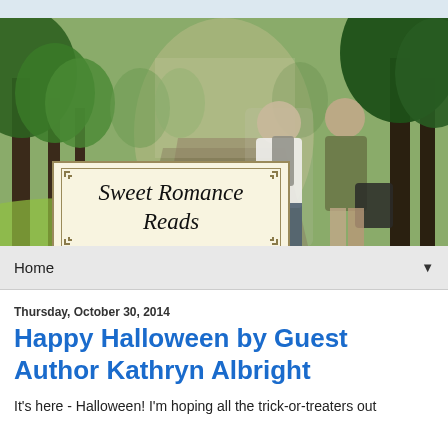[Figure (photo): Banner photo of a couple walking on a tree-lined path. The man wears a white t-shirt and backpack; the woman wears a green top and carries a black bag. Overlaid with a 'Sweet Romance Reads' logo in a decorative box.]
Home ▼
Thursday, October 30, 2014
Happy Halloween by Guest Author Kathryn Albright
It's here - Halloween! I'm hoping all the trick-or-treaters out